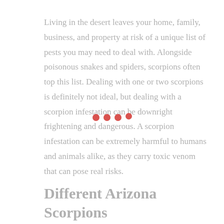Living in the desert leaves your home, family, business, and property at risk of a unique list of pests you may need to deal with. Alongside poisonous snakes and spiders, scorpions often top this list. Dealing with one or two scorpions is definitely not ideal, but dealing with a scorpion infestation can be downright frightening and dangerous. A scorpion infestation can be extremely harmful to humans and animals alike, as they carry toxic venom that can pose real risks.
Different Arizona Scorpions